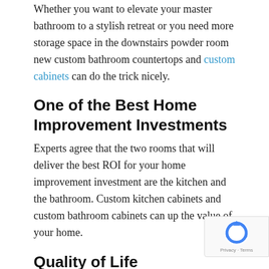Whether you want to elevate your master bathroom to a stylish retreat or you need more storage space in the downstairs powder room new custom bathroom countertops and custom cabinets can do the trick nicely.
One of the Best Home Improvement Investments
Experts agree that the two rooms that will deliver the best ROI for your home improvement investment are the kitchen and the bathroom. Custom kitchen cabinets and custom bathroom cabinets can up the value of your home.
Quality of Life
There is nothing better than loving where you live. Your bathrooms are rooms that you use all the time, why not have a space that you feel good about? New cabinets and a custom bathroom countertop will transform your space easily into a space that you will